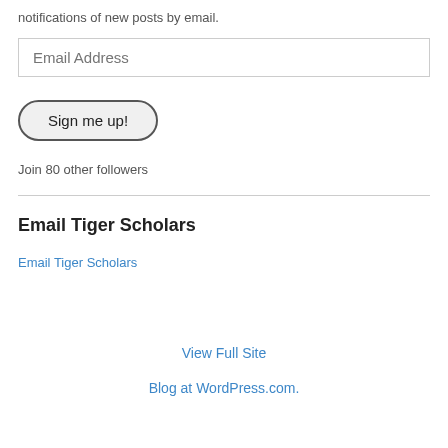notifications of new posts by email.
Email Address
Sign me up!
Join 80 other followers
Email Tiger Scholars
Email Tiger Scholars
View Full Site
Blog at WordPress.com.